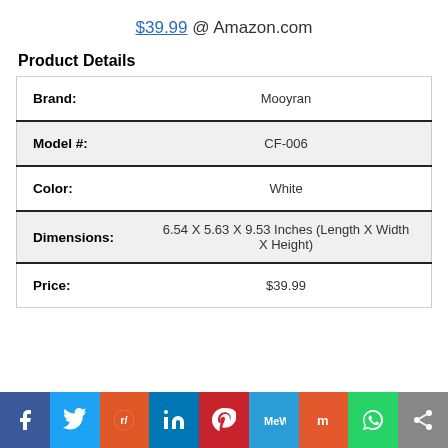$39.99 @ Amazon.com
Product Details
| Field | Value |
| --- | --- |
| Brand: | Mooyran |
| Model #: | CF-006 |
| Color: | White |
| Dimensions: | 6.54 X 5.63 X 9.53 Inches (Length X Width X Height) |
| Price: | $39.99 |